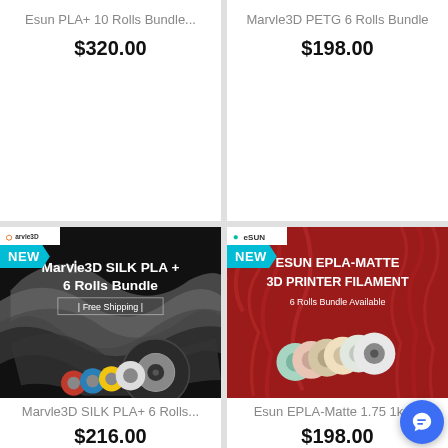Esun PLA+ 10 Rolls Bundle...
$320.00
Marvle3D PETG 6 Rolls Bundle
$198.00
[Figure (photo): Marvle3D SILK PLA+ 6 Rolls Bundle product image on black background with colorful filament spools and NEW badge]
Marvle3D SILK PLA+ 6 Rolls...
$216.00
[Figure (photo): Esun EPLA-Matte 3D Printer Filament 6 Rolls Bundle Available product image on red background with filament spools and NEW badge]
Esun EPLA-Matte 1.75 1kg...
$198.00